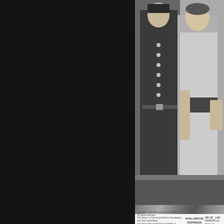[Figure (photo): Black and white movie still from Avalanche Express showing two men, one in military uniform and one holding a weapon. Caption bar reads AVALANCHE EXPRESS Released by 20th Century Fox and LEE MARVIN as Harry M. Matt Laroo, top level.]
Posted by Steve Kopian at May 28, 2013   No comments:
Labels: adventure, ambivalent post, american, spy, warner archive
Monday, May 27, 2013
Who is Killing the Great Chefs of Europe (revised)